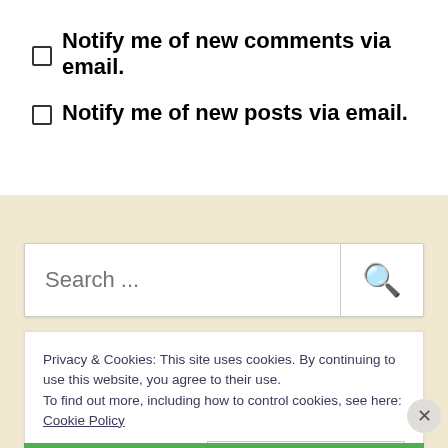Notify me of new comments via email.
Notify me of new posts via email.
[Figure (screenshot): Search bar with placeholder text 'Search ...' and a magnifying glass icon button]
Privacy & Cookies: This site uses cookies. By continuing to use this website, you agree to their use.
To find out more, including how to control cookies, see here: Cookie Policy
Close and accept